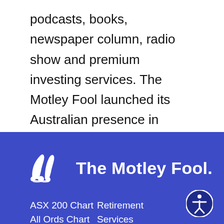podcasts, books, newspaper column, radio show and premium investing services. The Motley Fool launched its Australian presence in 2011, and since then has grown to reach over 1 million Australians.
Read more about us >
[Figure (logo): The Motley Fool logo with jester hat icon and text 'The Motley Fool.' on blue background]
ASX 200 Chart
All Ords Chart
Retirement
Services